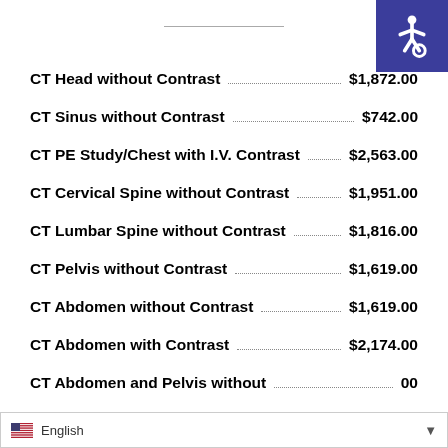CT Head without Contrast $1,872.00
CT Sinus without Contrast $742.00
CT PE Study/Chest with I.V. Contrast $2,563.00
CT Cervical Spine without Contrast $1,951.00
CT Lumbar Spine without Contrast $1,816.00
CT Pelvis without Contrast $1,619.00
CT Abdomen without Contrast $1,619.00
CT Abdomen with Contrast $2,174.00
CT Abdomen and Pelvis without ...00
[Figure (logo): Accessibility icon — white wheelchair symbol on blue background, top-right corner]
English (language selector bar at bottom)